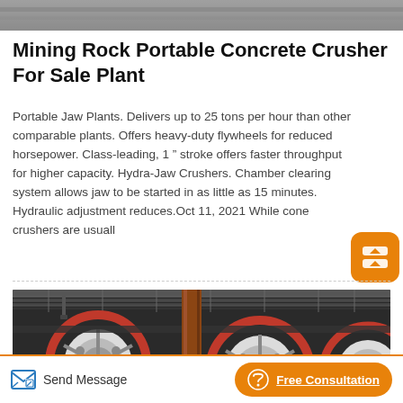[Figure (photo): Top portion of an image showing mining/industrial equipment, partially cropped]
Mining Rock Portable Concrete Crusher For Sale Plant
Portable Jaw Plants. Delivers up to 25 tons per hour than other comparable plants. Offers heavy-duty flywheels for reduced horsepower. Class-leading, 1 " stroke offers faster throughput for higher capacity. Hydra-Jaw Crushers. Chamber clearing system allows jaw to be started in as little as 15 minutes. Hydraulic adjustment reduces.Oct 11, 2021 While cone crushers are usuall
[Figure (photo): Industrial mining crusher equipment showing large red and white flywheels hanging from a ceiling in a workshop or factory setting]